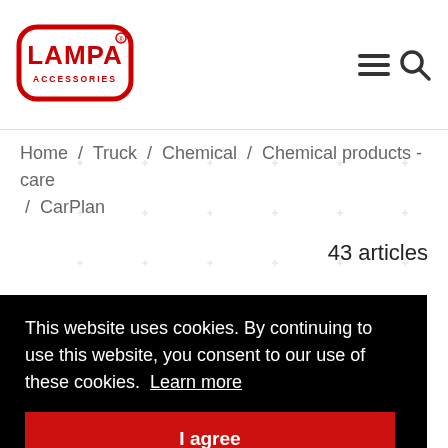[Figure (logo): Lampa Accessories logo — red oval outline with white LAMPA text and ACCESSORIES underneath]
Home / Truck / Chemical / Chemical products - care / CarPlan
43 articles
This website uses cookies. By continuing to use this website, you consent to our use of these cookies. Learn more
I agree